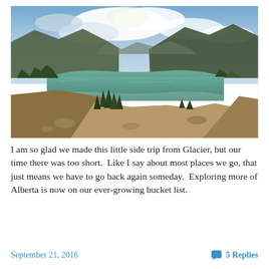[Figure (photo): Aerial landscape view of a mountain lake (likely Waterton Lake in Alberta, Canada) with mountains on both sides, green-teal water, conifer trees in the foreground on a rocky hillside, and a partly cloudy sky.]
I am so glad we made this little side trip from Glacier, but our time there was too short.  Like I say about most places we go, that just means we have to go back again someday.  Exploring more of Alberta is now on our ever-growing bucket list.
September 21, 2016   5 Replies